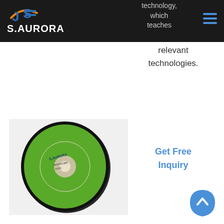S.AURORA — navigation header with logo and hamburger menu
technology, which teaches relevant technologies.
Get Free Inquiry
[Figure (photo): S.Aurora branded green abrasive cutting disc / grinding wheel product photo]
[Figure (other): Scroll-to-top button (blue teardrop shape with upward chevron)]